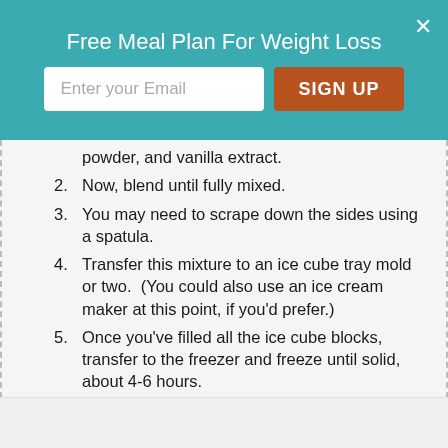Free Meal Plan For Weight Loss
powder, and vanilla extract.
Now, blend until fully mixed.
You may need to scrape down the sides using a spatula.
Transfer this mixture to an ice cube tray mold or two.  (You could also use an ice cream maker at this point, if you'd prefer.)
Once you've filled all the ice cube blocks, transfer to the freezer and freeze until solid, about 4-6 hours.
Once frozen, remove from the tray and transfer to the bowl of a food processor. Process until all the cubes are completely broken down and you have the creamy consistency of frozen yogurt.  (You may need to scrape down the sides of the food processor a time or two to help it along and it can also help to let the cubes sit for a minute or two to slightly thaw.)